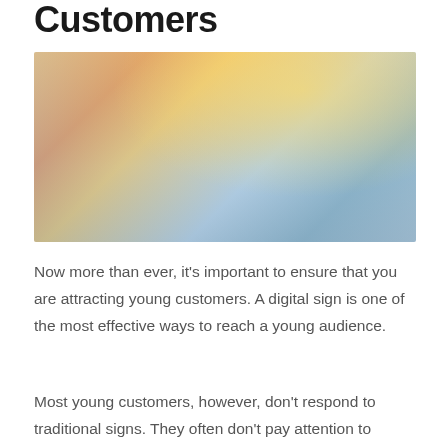Customers
[Figure (photo): Group of five young people walking happily on a bridge/walkway with arms raised, in an urban setting with sunlight in the background.]
Now more than ever, it's important to ensure that you are attracting young customers. A digital sign is one of the most effective ways to reach a young audience.
Most young customers, however, don't respond to traditional signs. They often don't pay attention to